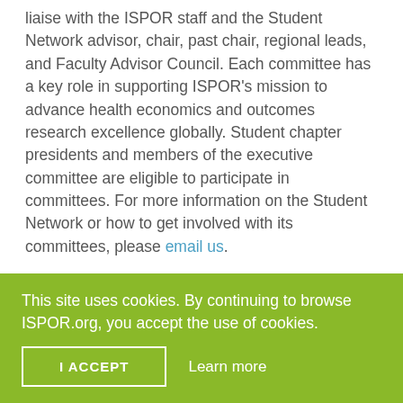liaise with the ISPOR staff and the Student Network advisor, chair, past chair, regional leads, and Faculty Advisor Council. Each committee has a key role in supporting ISPOR's mission to advance health economics and outcomes research excellence globally. Student chapter presidents and members of the executive committee are eligible to participate in committees. For more information on the Student Network or how to get involved with its committees, please email us.
Chapter Onboarding
This site uses cookies. By continuing to browse ISPOR.org, you accept the use of cookies.